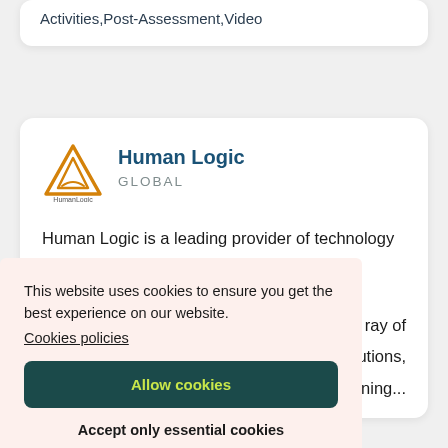Activities,Post-Assessment,Video
[Figure (logo): Human Logic Global logo — orange triangle/mountain icon with 'HumanLogic' text below]
Human Logic
GLOBAL
Human Logic is a leading provider of technology solutions for government, businesses and ...ray of ...utions, ...earning...
This website uses cookies to ensure you get the best experience on our website.
Cookies policies
Allow cookies
Accept only essential cookies
Cookie Preferences
More from Human Logic